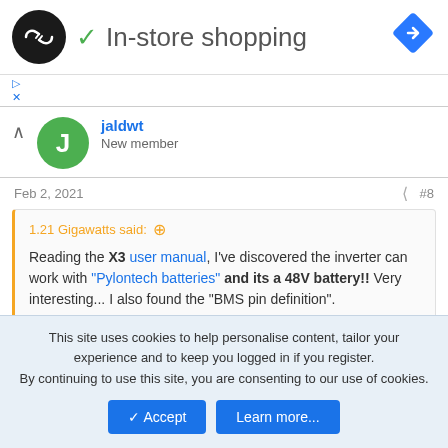[Figure (logo): Black circle logo with double arrow symbol, green checkmark, 'In-store shopping' title, and blue diamond navigation icon]
[Figure (other): Small ad play and close buttons]
[Figure (other): Green avatar circle with letter J, username jaldwt, New member label]
Feb 2, 2021
#8
1.21 Gigawatts said: Reading the X3 user manual, I've discovered the inverter can work with "Pylontech batteries" and its a 48V battery!! Very interesting... I also found the "BMS pin definition".
Hello all,
This site uses cookies to help personalise content, tailor your experience and to keep you logged in if you register. By continuing to use this site, you are consenting to our use of cookies.
Accept
Learn more...